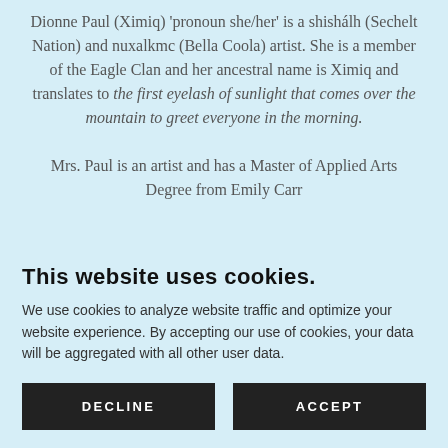Dionne Paul (Ximiq) 'pronoun she/her' is a shishálh (Sechelt Nation) and nuxalkmc (Bella Coola) artist. She is a member of the Eagle Clan and her ancestral name is Ximiq and translates to the first eyelash of sunlight that comes over the mountain to greet everyone in the morning.
Mrs. Paul is an artist and has a Master of Applied Arts Degree from Emily Carr
This website uses cookies.
We use cookies to analyze website traffic and optimize your website experience. By accepting our use of cookies, your data will be aggregated with all other user data.
DECLINE
ACCEPT